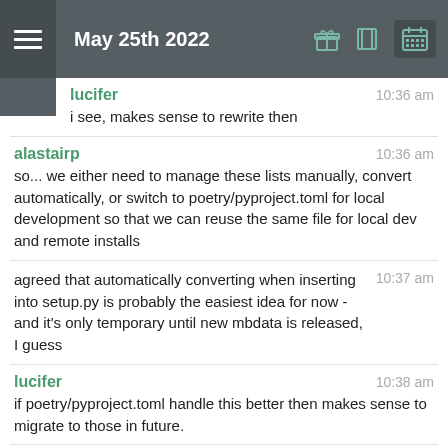May 25th 2022
lucifer  10:36 am
i see, makes sense to rewrite then
alastairp  10:36 am
so... we either need to manage these lists manually, convert automatically, or switch to poetry/pyproject.toml for local development so that we can reuse the same file for local dev and remote installs
agreed that automatically converting when inserting into setup.py is probably the easiest idea for now - and it's only temporary until new mbdata is released, I guess  10:37 am
lucifer  10:38 am
if poetry/pyproject.toml handle this better then makes sense to migrate to those in future.